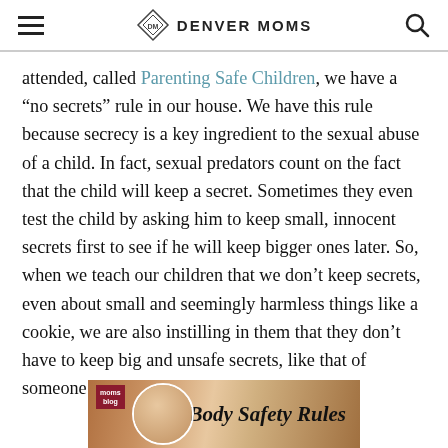Denver Moms
attended, called Parenting Safe Children, we have a “no secrets” rule in our house. We have this rule because secrecy is a key ingredient to the sexual abuse of a child. In fact, sexual predators count on the fact that the child will keep a secret. Sometimes they even test the child by asking him to keep small, innocent secrets first to see if he will keep bigger ones later. So, when we teach our children that we don’t keep secrets, even about small and seemingly harmless things like a cookie, we are also instilling in them that they don’t have to keep big and unsafe secrets, like that of someone touching them inappropriately.
[Figure (photo): Partial photo showing a sign or book titled 'Body Safety Rules' with moms blog branding and a circular avatar photo visible at the bottom of the page]